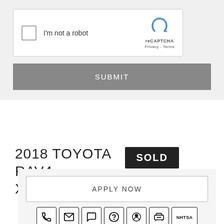[Figure (screenshot): reCAPTCHA widget with checkbox labeled 'I'm not a robot' and reCAPTCHA logo with Privacy and Terms links]
SUBMIT
2018 TOYOTA RAV4 XLE
SOLD
APPLY NOW
[Figure (infographic): Row of 7 icon buttons: phone, email/envelope, chat bubble, question mark, car/CARFAX, trade-in, NHTSA]